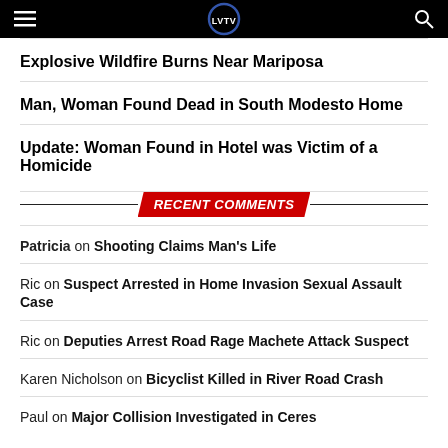LVTV
Explosive Wildfire Burns Near Mariposa
Man, Woman Found Dead in South Modesto Home
Update: Woman Found in Hotel was Victim of a Homicide
RECENT COMMENTS
Patricia on Shooting Claims Man's Life
Ric on Suspect Arrested in Home Invasion Sexual Assault Case
Ric on Deputies Arrest Road Rage Machete Attack Suspect
Karen Nicholson on Bicyclist Killed in River Road Crash
Paul on Major Collision Investigated in Ceres